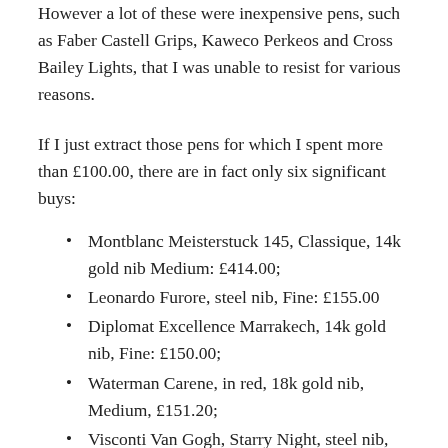However a lot of these were inexpensive pens, such as Faber Castell Grips, Kaweco Perkeos and Cross Bailey Lights, that I was unable to resist for various reasons.
If I just extract those pens for which I spent more than £100.00, there are in fact only six significant buys:
Montblanc Meisterstuck 145, Classique, 14k gold nib Medium: £414.00;
Leonardo Furore, steel nib, Fine: £155.00
Diplomat Excellence Marrakech, 14k gold nib, Fine: £150.00;
Waterman Carene, in red, 18k gold nib, Medium, £151.20;
Visconti Van Gogh, Starry Night, steel nib, Fine: